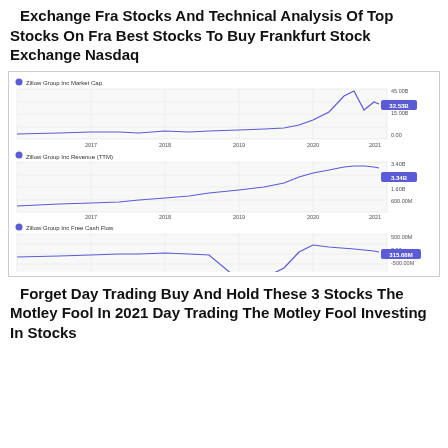Exchange Fra Stocks And Technical Analysis Of Top Stocks On Fra Best Stocks To Buy Frankfurt Stock Exchange Nasdaq
[Figure (line-chart): Three stacked line charts from The Motley Fool / YCharts showing Zillow Group Inc Market Cap (32.53B), Revenue TTM (3.34B), and Free Cash Flow (315.68M) from 2017 to 2021.]
Forget Day Trading Buy And Hold These 3 Stocks The Motley Fool In 2021 Day Trading The Motley Fool Investing In Stocks